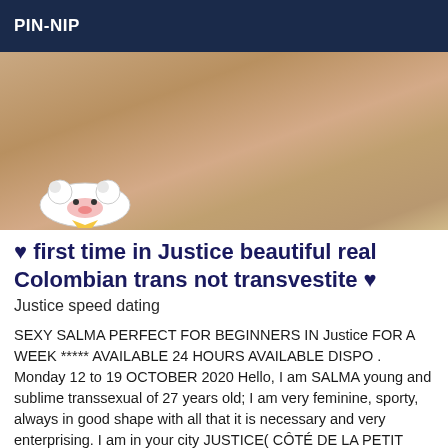PIN-NIP
[Figure (photo): A blurred photograph with a cartoon bear sticker overlay in the lower left corner]
❤ first time in Justice beautiful real Colombian trans not transvestite ❤
Justice speed dating
SEXY SALMA PERFECT FOR BEGINNERS IN Justice FOR A WEEK ***** AVAILABLE 24 HOURS AVAILABLE DISPO . Monday 12 to 19 OCTOBER 2020 Hello, I am SALMA young and sublime transsexual of 27 years old; I am very feminine, sporty, always in good shape with all that it is necessary and very enterprising. I am in your city JUSTICE( CÔTÉ DE LA PETIT FNAC ) I propose you amateur or novice a pleasant moment of pleasures